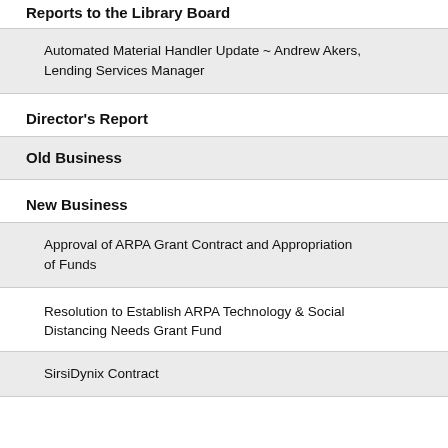Reports to the Library Board
Automated Material Handler Update ~ Andrew Akers, Lending Services Manager
Director's Report
Old Business
New Business
Approval of ARPA Grant Contract and Appropriation of Funds
Resolution to Establish ARPA Technology & Social Distancing Needs Grant Fund
SirsiDynix Contract